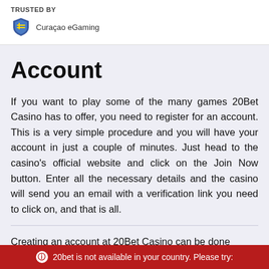TRUSTED BY
[Figure (logo): Curaçao eGaming shield logo with text 'Curaçao eGaming']
Account
If you want to play some of the many games 20Bet Casino has to offer, you need to register for an account. This is a very simple procedure and you will have your account in just a couple of minutes. Just head to the casino's official website and click on the Join Now button. Enter all the necessary details and the casino will send you an email with a verification link you need to click on, and that is all.
Creating an account at 20Bet Casino can be done
20bet is not available in your country. Please try: